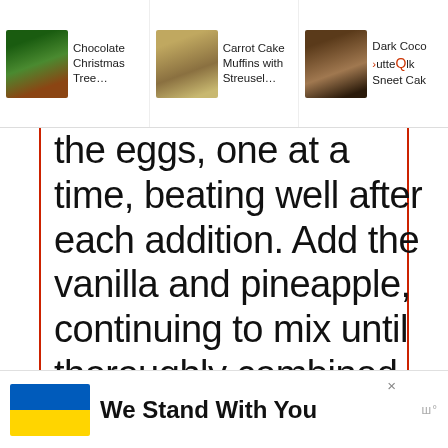Chocolate Christmas Tree… | Carrot Cake Muffins with Streusel… | Dark Coco Butte Qlk Sneet Cak
the eggs, one at a time, beating well after each addition. Add the vanilla and pineapple, continuing to mix until thoroughly combined.
ADVERTISEMENT
[Figure (other): Gray advertisement placeholder box]
222
We Stand With You